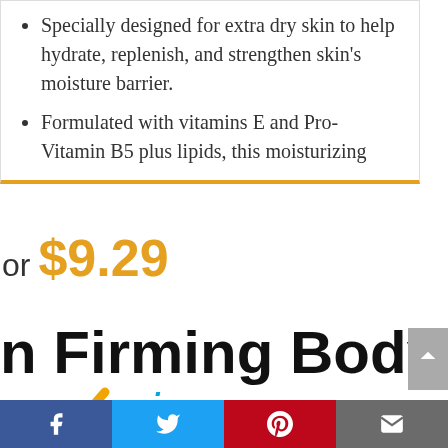Specially designed for extra dry skin to help hydrate, replenish, and strengthen skin's moisture barrier.
Formulated with vitamins E and Pro-Vitamin B5 plus lipids, this moisturizing
or $9.29
n Firming Body L
[Figure (logo): Amazon Prime logo with orange checkmark and blue 'prime' text]
Facebook | Twitter | Pinterest | Email social share buttons